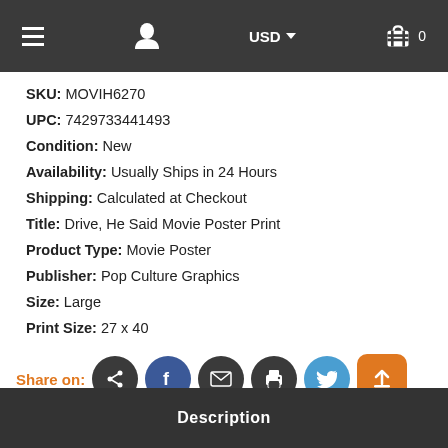≡  [user icon]  USD ▾  [cart] 0
SKU: MOVIH6270
UPC: 7429733441493
Condition: New
Availability: Usually Ships in 24 Hours
Shipping: Calculated at Checkout
Title: Drive, He Said Movie Poster Print
Product Type: Movie Poster
Publisher: Pop Culture Graphics
Size: Large
Print Size: 27 x 40
Share on: [social icons]
Description